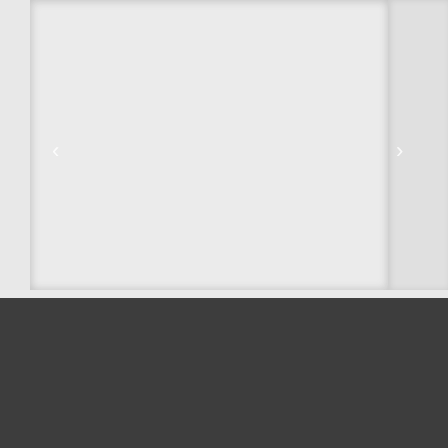[Figure (screenshot): Carousel/slideshow UI component with a large light gray slide panel in the center, left and right navigation arrows on either side, and a darker gray right panel.]
Terms and Conditions ▼
— —